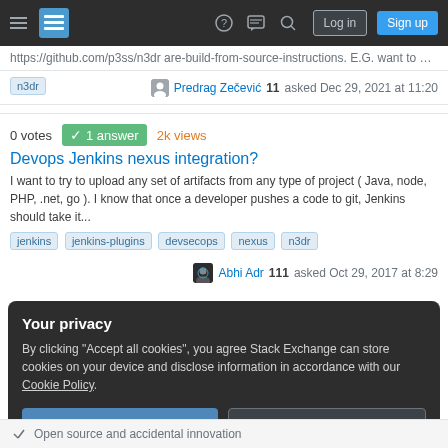Stack Exchange navigation bar with Log in and Sign up buttons
https://github.com/p3ss/n3dr are-build-from-source-instructions. E.G. want to downlo...
n3dr   Predrag Zečević 11 asked Dec 29, 2021 at 11:20
0 votes  1 answer  2k views
Devops Jenkins nexus integration?
I want to try to upload any set of artifacts from any type of project ( Java, node, PHP, .net, go ). I know that once a developer pushes a code to git, Jenkins should take it...
jenkins  jenkins-plugins  devsecops  nexus  n3dr
Abhi Adr 111 asked Oct 29, 2017 at 8:29
Your privacy
By clicking "Accept all cookies", you agree Stack Exchange can store cookies on your device and disclose information in accordance with our Cookie Policy.
Accept all cookies   Customize settings
Open source and accidental innovation